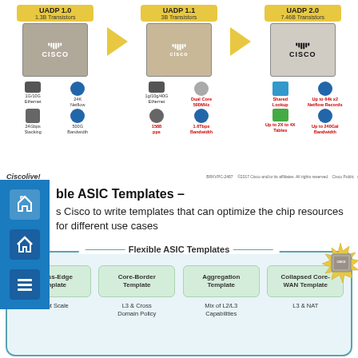[Figure (infographic): UADP chip evolution: UADP 1.0 (1.3B Transistors), UADP 1.1 (3B Transistors), UADP 2.0 (7.46B Transistors) with Cisco chip photos, arrows between them, and feature icons below each chip including 1G/10G Ethernet, 24K Netflow, 24Gbps Stacking, 500G Bandwidth, 10g/100g/40G Ethernet, Dual Core 500MHz, 1588 pps, 1.6Tbps Bandwidth, Shared Lookup, Up to 64k x2 Netflow Records, Up to 2X to 4X Tables, Up to 240Gal Bandwidth]
ble ASIC Templates –
s Cisco to write templates that can optimize the chip resources for different use cases
[Figure (infographic): Flexible ASIC Templates diagram showing four template types: Access-Edge Template (Client Scale), Core-Border Template (L3 & Cross Domain Policy), Aggregation Template (Mix of L2/L3 Capabilities), Collapsed Core-WAN Template (L3 & NAT), inside a rounded rectangle with teal border and light blue background, with Cisco chip image in top-right corner]